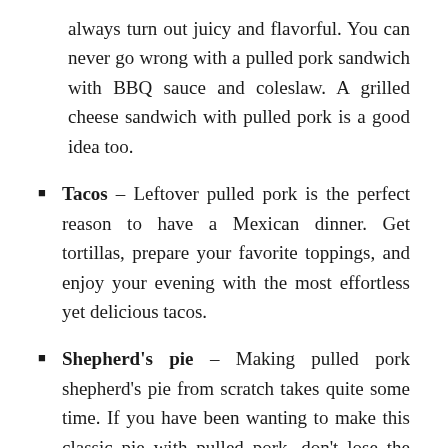always turn out juicy and flavorful. You can never go wrong with a pulled pork sandwich with BBQ sauce and coleslaw. A grilled cheese sandwich with pulled pork is a good idea too.
Tacos – Leftover pulled pork is the perfect reason to have a Mexican dinner. Get tortillas, prepare your favorite toppings, and enjoy your evening with the most effortless yet delicious tacos.
Shepherd's pie – Making pulled pork shepherd's pie from scratch takes quite some time. If you have been wanting to make this classic pie with pulled pork, don't lose the chance to do it if you have pulled pork leftovers.